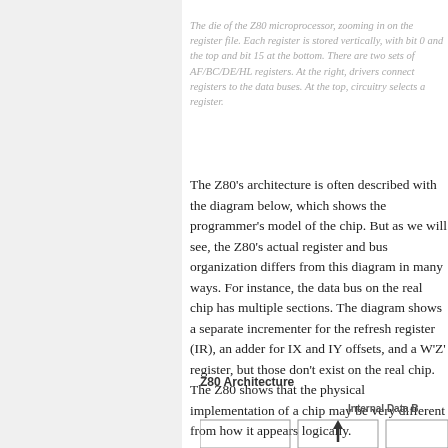The die of the Z80 microprocessor, zooming in on the register file. Each register is stored vertically, with bit 0 and the top and bit 15 at the bottom. There are two sets of AF/BC/DE/HL registers. At the right, drivers connect registers to the data buses. At the top, circuitry selects a register.
The Z80's architecture is often described with the diagram below, which shows the programmer's model of the chip. But as we will see, the Z80's actual register and bus organization differs from this diagram in many ways. For instance, the data bus on the real chip has multiple sections. The diagram shows a separate incrementer for the refresh register (IR), an adder for IX and IY offsets, and a W'Z' register, but those don't exist on the real chip. The Z80 shows that the physical implementation of a chip may be very different from how it appears logically.
Z80 Architecture
[Figure (schematic): Partial Z80 Architecture diagram showing the top portion of a block schematic with an Internal Data Bus label and an upward arrow visible.]